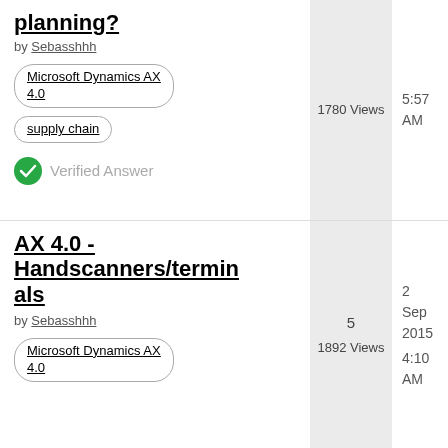planning?
by Sebasshhh
Microsoft Dynamics AX 4.0
supply chain
Verified Answer
1780 Views
5:57 AM
AX 4.0 - Handscanners/terminals
by Sebasshhh
Microsoft Dynamics AX 4.0
5
1892 Views
2 Sep 2015
4:10 AM